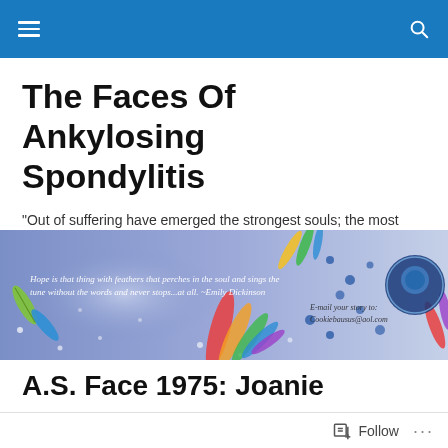The Faces Of Ankylosing Spondylitis
"Out of suffering have emerged the strongest souls; the most massive characters are seared with scars." – Khalil Gibran
[Figure (illustration): Banner image with colorful feathers on a purple/blue gradient background. Text reads: 'Hope is that thing with feathers that perches in the soul and sings the tune without the words and never stops...at all. ~Emily Dickinson'. Also shows: 'E-mail your story to: Cookiebausus@aol.com' and a circular logo on the right.]
A.S. Face 1975: Joanie
Follow